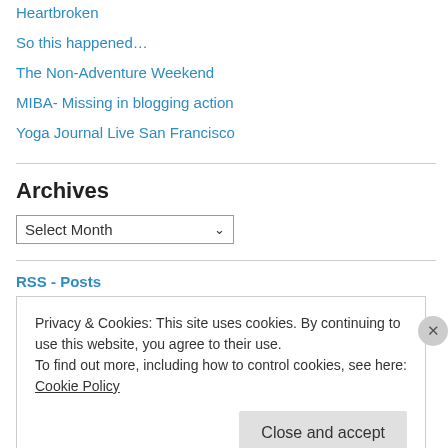Heartbroken
So this happened…
The Non-Adventure Weekend
MIBA- Missing in blogging action
Yoga Journal Live San Francisco
Archives
Select Month
RSS - Posts
Privacy & Cookies: This site uses cookies. By continuing to use this website, you agree to their use.
To find out more, including how to control cookies, see here: Cookie Policy
Close and accept